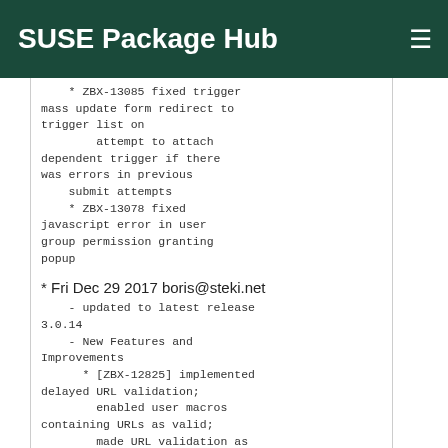SUSE Package Hub
* ZBX-13085 fixed trigger mass update form redirect to trigger list on
        attempt to attach dependent trigger if there was errors in previous
    submit attempts
    * ZBX-13078 fixed javascript error in user group permission granting popup
* Fri Dec 29 2017 boris@steki.net
- updated to latest release 3.0.14
    - New Features and Improvements
      * [ZBX-12825] implemented delayed URL validation;
            enabled user macros containing URLs as valid;
        made URL validation as optional; improved URL validation
    - Bug Fixes
      * [ZBX-13181] fixed database configuration error reporting and
            message filtering when messages are received from clear_messages function
      * [ZBX-13024] fixed parsing "request" parameter